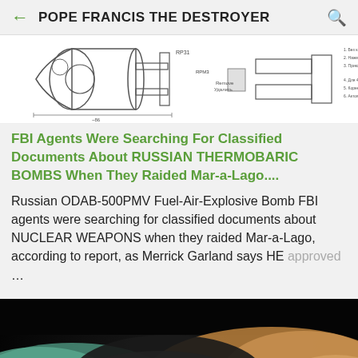POPE FRANCIS THE DESTROYER
[Figure (illustration): Technical engineering schematic drawing of a Russian ODAB-500PMV thermobaric bomb with Russian text labels and dimensional annotations]
FBI Agents Were Searching For Classified Documents About RUSSIAN THERMOBARIC BOMBS When They Raided Mar-a-Lago....
Russian ODAB-500PMV Fuel-Air-Explosive Bomb FBI agents were searching for classified documents about NUCLEAR WEAPONS when they raided Mar-a-Lago, according to report, as Merrick Garland says HE approved ...
[Figure (photo): Dramatic storm photo showing lightning bolts striking through dark storm clouds with teal and golden hues]